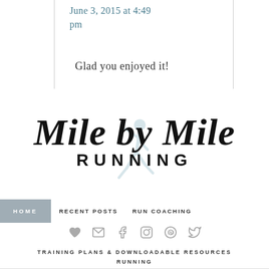June 3, 2015 at 4:49 pm
Glad you enjoyed it!
[Figure (logo): Mile by Mile Running blog logo with script text 'Mile by Mile' over 'RUNNING' in block letters, with a faded runner silhouette in the background]
HOME   RECENT POSTS   RUN COACHING
[Figure (infographic): Social media icons: heart, email, facebook, instagram, pinterest, twitter]
TRAINING PLANS & DOWNLOADABLE RESOURCES
RUNNING